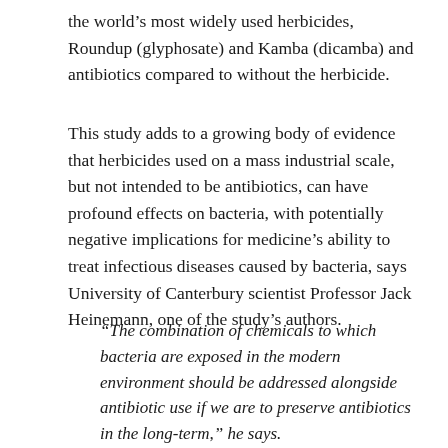the world's most widely used herbicides, Roundup (glyphosate) and Kamba (dicamba) and antibiotics compared to without the herbicide.
This study adds to a growing body of evidence that herbicides used on a mass industrial scale, but not intended to be antibiotics, can have profound effects on bacteria, with potentially negative implications for medicine's ability to treat infectious diseases caused by bacteria, says University of Canterbury scientist Professor Jack Heinemann, one of the study's authors.
"The combination of chemicals to which bacteria are exposed in the modern environment should be addressed alongside antibiotic use if we are to preserve antibiotics in the long-term," he says.